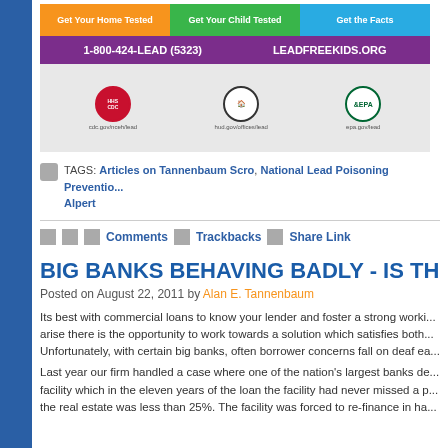[Figure (infographic): Lead poisoning prevention banner with buttons: Get Your Home Tested (orange), Get Your Child Tested (green), Get the Facts (blue). Purple bar with 1-800-424-LEAD (5323) and LEADFREEKIDS.ORG. Gray section with CDC, HUD, and EPA logos.]
TAGS: Articles on Tannenbaum Scro, National Lead Poisoning Prevention, Alpert
Comments   Trackbacks   Share Link
BIG BANKS BEHAVING BADLY - IS THERE
Posted on August 22, 2011 by Alan E. Tannenbaum
Its best with commercial loans to know your lender and foster a strong working relationship so when problems arise there is the opportunity to work towards a solution which satisfies both parties. Unfortunately, with certain big banks, often borrower concerns fall on deaf ea
Last year our firm handled a case where one of the nation's largest banks de facility which in the eleven years of the loan the facility had never missed a p the real estate was less than 25%. The facility was forced to re-finance in ha